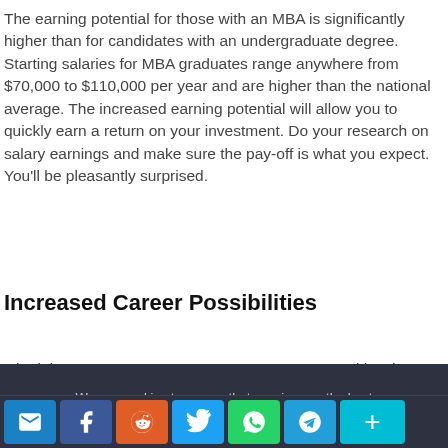The earning potential for those with an MBA is significantly higher than for candidates with an undergraduate degree. Starting salaries for MBA graduates range anywhere from $70,000 to $110,000 per year and are higher than the national average. The increased earning potential will allow you to quickly earn a return on your investment. Do your research on salary earnings and make sure the pay-off is what you expect. You'll be pleasantly surprised.
Increased Career Possibilities
Obtaining your Master's Degree opens up opportunities that may never have existed before. Many employers require a
We use cookies to ensure that we give you the best experience on our website. If you continue to use this site we will assume that you are happy with it.